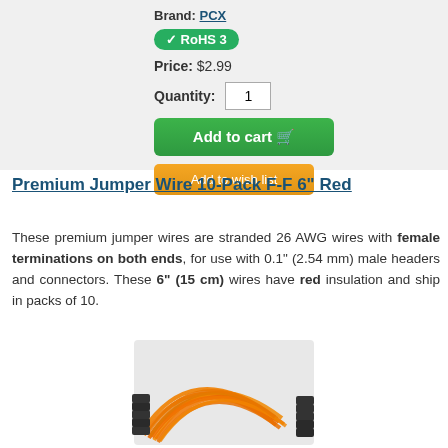Brand: PCX
✓ RoHS 3
Price: $2.99
Quantity: 1
Add to cart
Add to wish list
Premium Jumper Wire 10-Pack F-F 6" Red
These premium jumper wires are stranded 26 AWG wires with female terminations on both ends, for use with 0.1" (2.54 mm) male headers and connectors. These 6" (15 cm) wires have red insulation and ship in packs of 10.
[Figure (photo): Photo of orange/red premium jumper wires bundled together with female connectors on both ends]